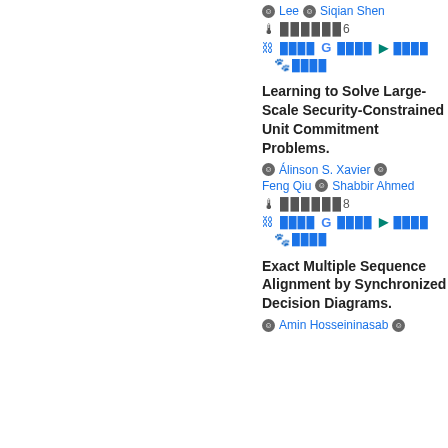Lee  Siqian Shen
🌡 ██████6
🔗 ████  G ████  ► ████  🐾 ████
Learning to Solve Large-Scale Security-Constrained Unit Commitment Problems.
Álinson S. Xavier  Feng Qiu  Shabbir Ahmed
🌡 ██████8
🔗 ████  G ████  ► ████  🐾 ████
Exact Multiple Sequence Alignment by Synchronized Decision Diagrams.
Amin Hosseininasab